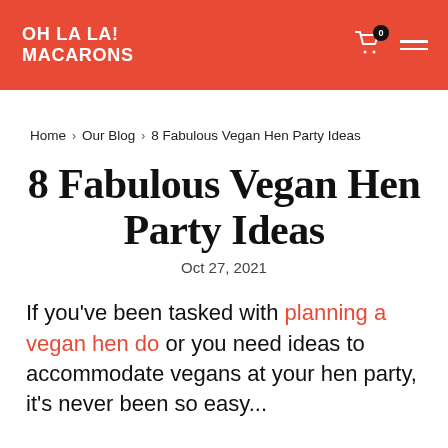OH LA LA! MACARONS
Home > Our Blog > 8 Fabulous Vegan Hen Party Ideas
8 Fabulous Vegan Hen Party Ideas
Oct 27, 2021
If you've been tasked with planning a vegan hen do or you need ideas to accommodate vegans at your hen party, it's never been so easy...